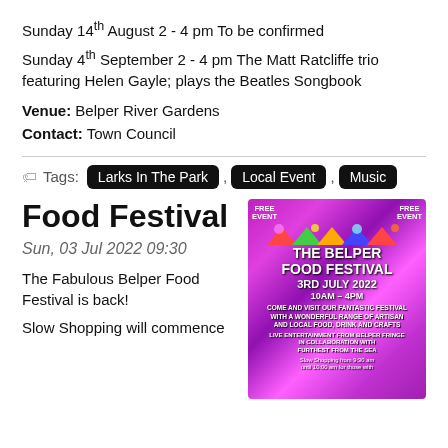Sunday 14th August 2 - 4 pm To be confirmed
Sunday 4th September 2 - 4 pm The Matt Ratcliffe trio featuring Helen Gayle; plays the Beatles Songbook
Venue: Belper River Gardens
Contact: Town Council
Tags: Larks In The Park , Local Event , Music
Food Festival
Sun, 03 Jul 2022 09:30
The Fabulous Belper Food Festival is back!
Slow Shopping will commence
[Figure (photo): Poster for The Belper Food Festival, 3rd July 2022, 10AM-4PM. Free event. Live entertainment from Belper Fringe in collaboration with Furthest From The Sea. Slow Shopping from 9:30am until 10:00am for those with...]